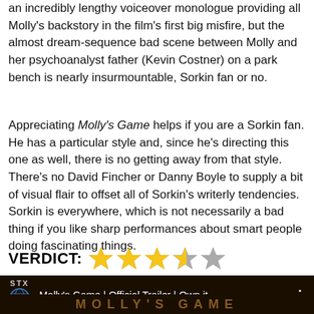an incredibly lengthy voiceover monologue providing all Molly's backstory in the film's first big misfire, but the almost dream-sequence bad scene between Molly and her psychoanalyst father (Kevin Costner) on a park bench is nearly insurmountable, Sorkin fan or no.
Appreciating Molly's Game helps if you are a Sorkin fan. He has a particular style and, since he's directing this one as well, there is no getting away from that style. There's no David Fincher or Danny Boyle to supply a bit of visual flair to offset all of Sorkin's writerly tendencies. Sorkin is everywhere, which is not necessarily a bad thing if you like sharp performances about smart people doing fascinating things.
VERDICT: ★★★½☆ (3.5 out of 5 stars)
[Figure (screenshot): Video thumbnail for Molly's Game Official Trailer with STX logo, dark brown background with golden text 'MOLLY'S GAME' watermark]